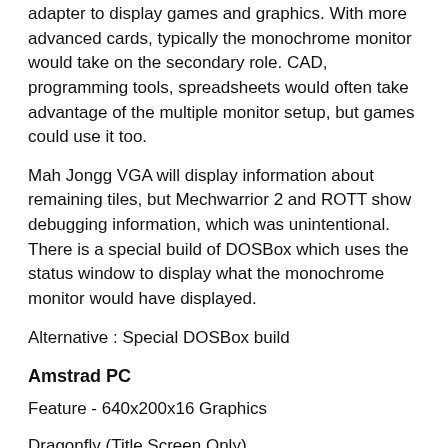adapter to display games and graphics.  With more advanced cards, typically the monochrome monitor would take on the secondary role.  CAD, programming tools, spreadsheets would often take advantage of the multiple monitor setup, but games could use it too.
Mah Jongg VGA will display information about remaining tiles, but Mechwarrior 2 and ROTT show debugging information, which was unintentional.  There is a special build of DOSBox which uses the status window to display what the monochrome monitor would have displayed.
Alternative : Special DOSBox build
Amstrad PC
Feature - 640x200x16 Graphics
Dragonfly (Title Screen Only)
Flags
Feud
Maupiti Island